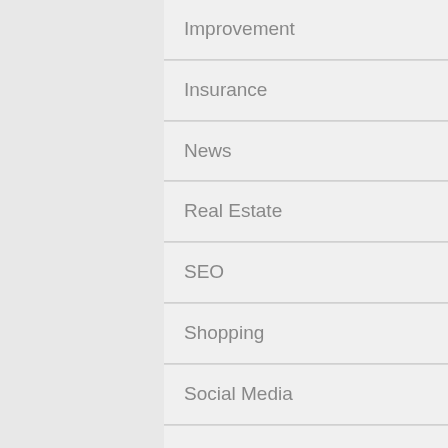Improvement
Insurance
News
Real Estate
SEO
Shopping
Social Media
Software
Sports
Technology
Travel
Web design